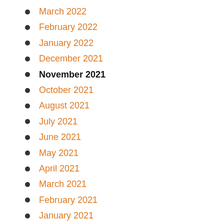March 2022
February 2022
January 2022
December 2021
November 2021
October 2021
August 2021
July 2021
June 2021
May 2021
April 2021
March 2021
February 2021
January 2021
November 2020
October 2020
September 2020